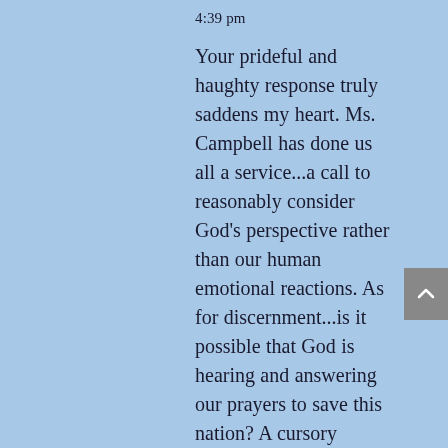4:39 pm
Your prideful and haughty response truly saddens my heart. Ms. Campbell has done us all a service...a call to reasonably consider God's perspective rather than our human emotional reactions. As for discernment...is it possible that God is hearing and answering our prayers to save this nation? A cursory review of the Scriptures shows that He doesn't always use the considered “appropriate” candidate to